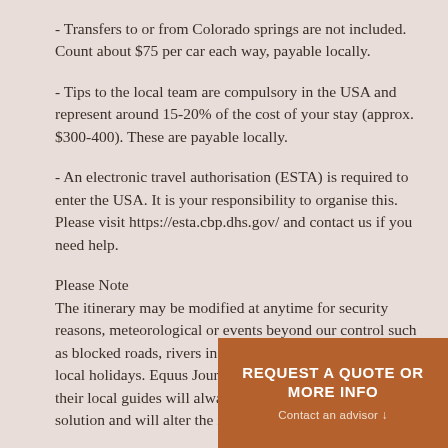- Transfers to or from Colorado springs are not included. Count about $75 per car each way, payable locally.
- Tips to the local team are compulsory in the USA and represent around 15-20% of the cost of your stay (approx. $300-400). These are payable locally.
- An electronic travel authorisation (ESTA) is required to enter the USA. It is your responsibility to organise this. Please visit https://esta.cbp.dhs.gov/ and contact us if you need help.
Please Note
The itinerary may be modified at anytime for security reasons, meteorological or events beyond our control such as blocked roads, rivers in flood, drought, strikes and local holidays. Equus Journeys, our local partners and their local guides will always strive to find the best solution and will alter the itinerary as needed.
REQUEST A QUOTE OR MORE INFO
Contact an advisor ↓